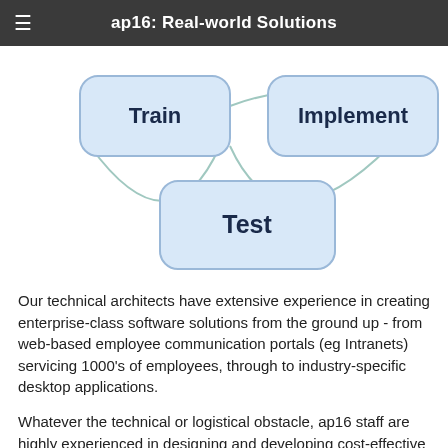ap16: Real-world Solutions
[Figure (flowchart): Partial flowchart diagram showing three rounded-rectangle nodes: 'Train' (upper left), 'Implement' (upper right), and 'Test' (bottom center), connected by arcs forming part of a circular process diagram.]
Our technical architects have extensive experience in creating enterprise-class software solutions from the ground up - from web-based employee communication portals (eg Intranets) servicing 1000's of employees, through to industry-specific desktop applications.
Whatever the technical or logistical obstacle, ap16 staff are highly experienced in designing and developing cost-effective and innovative solutions.
If you have a need we can develop a system to meet it.
ap16's unique 6 step approach to bespoke development ensures you get what you want, when you want it, for a price that you think is fair.